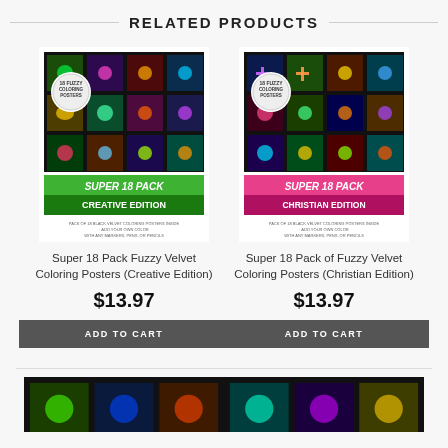RELATED PRODUCTS
[Figure (photo): Super 18 Pack Fuzzy Velvet Coloring Posters Creative Edition product image]
Super 18 Pack Fuzzy Velvet Coloring Posters (Creative Edition)
$13.97
ADD TO CART
[Figure (photo): Super 18 Pack of Fuzzy Velvet Coloring Posters Christian Edition product image]
Super 18 Pack of Fuzzy Velvet Coloring Posters (Christian Edition)
$13.97
ADD TO CART
[Figure (photo): Partial product image bottom left]
[Figure (photo): Partial product image bottom right]